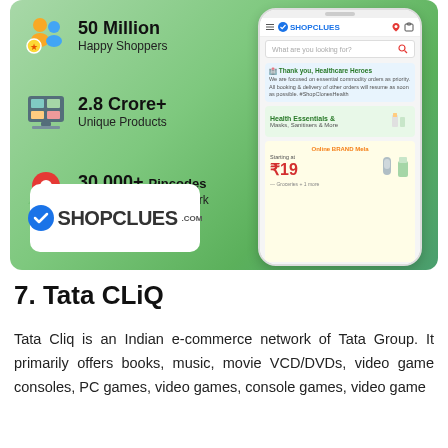[Figure (infographic): ShopClues infographic showing 50 Million Happy Shoppers, 2.8 Crore+ Unique Products, 30,000+ Pincodes Widest Delivery Network, ShopClues logo, and a phone mockup showing the ShopClues app interface with health essentials and brand offers.]
7. Tata CLiQ
Tata Cliq is an Indian e-commerce network of Tata Group. It primarily offers books, music, movie VCD/DVDs, video game consoles, PC games, video games, console games, video game